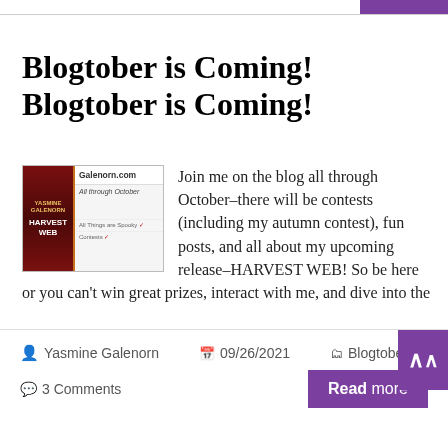Blogtober is Coming! Blogtober is Coming!
[Figure (illustration): Book cover and blog promotional image for Galenorn.com showing 'Harvest Web' book alongside text 'All through October' and 'All Things are Spooky']
Join me on the blog all through October–there will be contests (including my autumn contest), fun posts, and all about my upcoming release–HARVEST WEB! So be here or you can't win great prizes, interact with me, and dive into the
[Figure (screenshot): Share button with Twitter, Facebook, and Google+ icons]
Yasmine Galenorn  09/26/2021  Blogtober  3 Comments  Read more